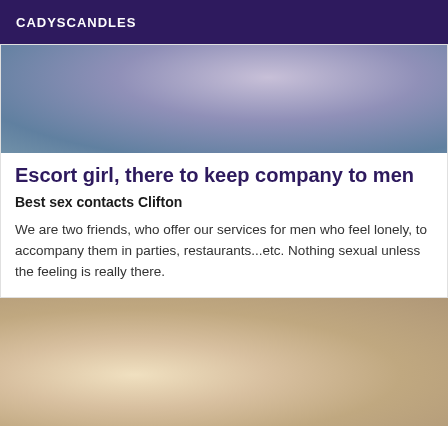CADYSCANDLES
[Figure (photo): Partial view of a person wearing a grey/blue top, close-up torso area]
Escort girl, there to keep company to men
Best sex contacts Clifton
We are two friends, who offer our services for men who feel lonely, to accompany them in parties, restaurants...etc. Nothing sexual unless the feeling is really there.
[Figure (photo): Woman with long brown hair in a bathroom setting near a bathtub, arm raised]